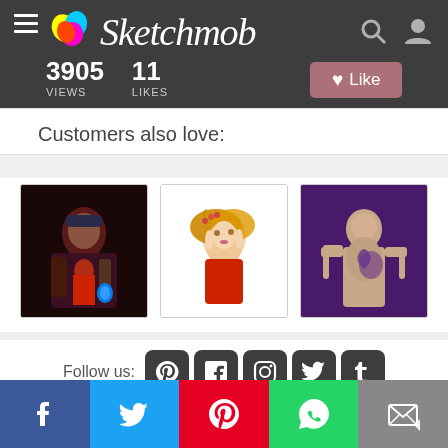Sketchmob — 3905 VIEWS  11 LIKES  Like
3905 VIEWS
11 LIKES
Customers also love:
[Figure (illustration): Digital illustration of a dark-coated pirate/villain figure holding a glowing blue vial, red tones]
[Figure (illustration): Digital illustration of a blonde elf girl with flower crown and red dress on white background]
[Figure (illustration): Digital illustration of a muscular tattooed man saluting on purple background]
Follow us:
Social media icons: Pinterest, Facebook, Instagram, Twitter, Tumblr